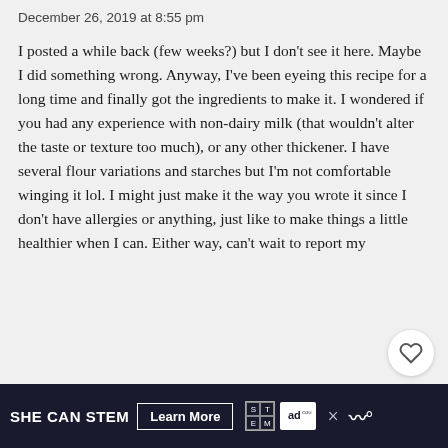December 26, 2019 at 8:55 pm
I posted a while back (few weeks?) but I don't see it here. Maybe I did something wrong. Anyway, I've been eyeing this recipe for a long time and finally got the ingredients to make it. I wondered if you had any experience with non-dairy milk (that wouldn't alter the taste or texture too much), or any other thickener. I have several flour variations and starches but I'm not comfortable winging it lol. I might just make it the way you wrote it since I don't have allergies or anything, just like to make things a little healthier when I can. Either way, can't wait to report my
SHE CAN STEM  Learn More